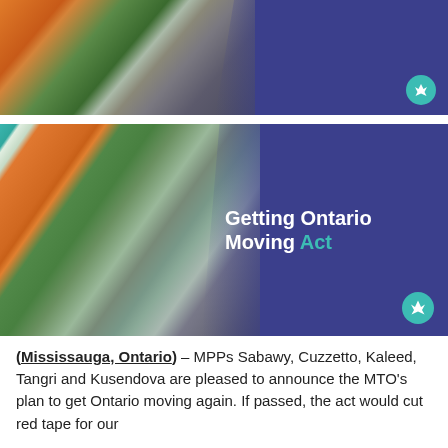[Figure (photo): Banner image of an autumn road scene with orange and green trees, partially overlaid with a dark navy purple background and Ontario government trident logo icon in teal circle.]
[Figure (photo): Larger banner image of an autumn road scene with orange and green trees and light sky, overlaid with dark navy purple background on right half containing text 'Getting Ontario Moving Act' and Ontario government trident logo icon in teal circle.]
(Mississauga, Ontario) – MPPs Sabawy, Cuzzetto, Kaleed, Tangri and Kusendova are pleased to announce the MTO's plan to get Ontario moving again. If passed, the act would cut red tape for our